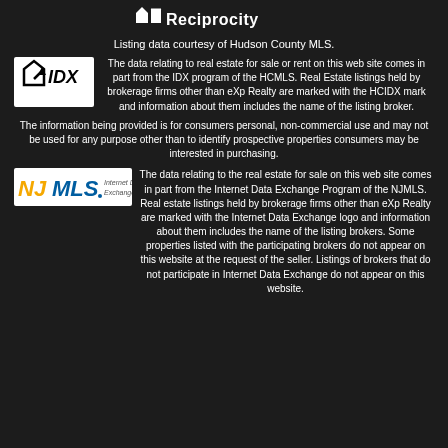[Figure (logo): IDX Reciprocity logo with house/arrow icon and text 'Reciprocity']
Listing data courtesy of Hudson County MLS.
[Figure (logo): IDX logo - black and white logo with arrow and letters IDX]
The data relating to real estate for sale or rent on this web site comes in part from the IDX program of the HCMLS. Real Estate listings held by brokerage firms other than eXp Realty are marked with the HCIDX mark and information about them includes the name of the listing broker.
The information being provided is for consumers personal, non-commercial use and may not be used for any purpose other than to identify prospective properties consumers may be interested in purchasing.
[Figure (logo): NJMLS Internet Data Exchange logo - orange/yellow letters NJMLS with blue IDX text]
The data relating to the real estate for sale on this web site comes in part from the Internet Data Exchange Program of the NJMLS. Real estate listings held by brokerage firms other than eXp Realty are marked with the Internet Data Exchange logo and information about them includes the name of the listing brokers. Some properties listed with the participating brokers do not appear on this website at the request of the seller. Listings of brokers that do not participate in Internet Data Exchange do not appear on this website.